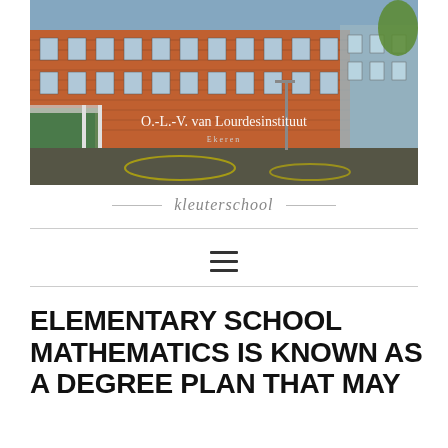[Figure (photo): Exterior photo of O.-L.-V. van Lourdesinstituut school building in Ekeren, showing a red brick building with a courtyard, green covered area on the left, and trees on the right.]
O.-L.-V. van Lourdesinstituut
Ekeren
kleuterschool
ELEMENTARY SCHOOL MATHEMATICS IS KNOWN AS A DEGREE PLAN THAT MAY